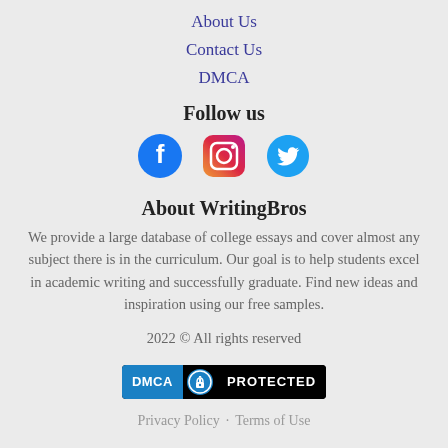About Us
Contact Us
DMCA
Follow us
[Figure (illustration): Three social media icons: Facebook (blue circle with f), Instagram (gradient camera icon), Twitter (blue bird icon)]
About WritingBros
We provide a large database of college essays and cover almost any subject there is in the curriculum. Our goal is to help students excel in academic writing and successfully graduate. Find new ideas and inspiration using our free samples.
2022 © All rights reserved
[Figure (logo): DMCA PROTECTED badge with lock icon]
Privacy Policy · Terms of Use